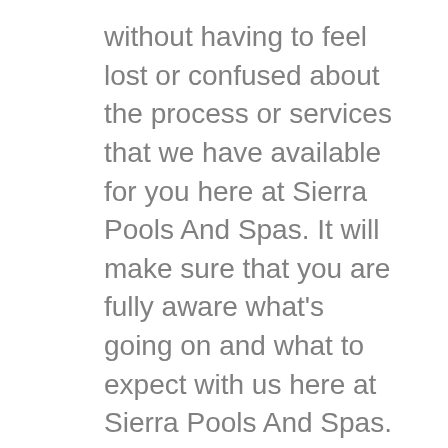without having to feel lost or confused about the process or services that we have available for you here at Sierra Pools And Spas. It will make sure that you are fully aware what's going on and what to expect with us here at Sierra Pools And Spas.
Once you fully decided that you are choosing Sierra Pools And Spas for all your pool needs, the very next step in the process will be to go ahead and go over the entire design of your new project with us here at Sierra Pools And Spas. You will love the fact that the skies the limit Hargrave you will be able to get with us here at Sierra Pools And Spas because will accompany anything you can think of regards pools.
Our highly trained and knowledgeable team of experts are more than ready to provide you with everything you need in regards to pools. We have the best selection in town regards to pools, however if you're still not completely convinced we are the right